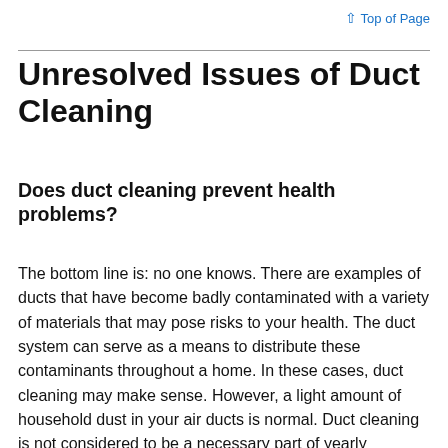↑ Top of Page
Unresolved Issues of Duct Cleaning
Does duct cleaning prevent health problems?
The bottom line is: no one knows. There are examples of ducts that have become badly contaminated with a variety of materials that may pose risks to your health. The duct system can serve as a means to distribute these contaminants throughout a home. In these cases, duct cleaning may make sense. However, a light amount of household dust in your air ducts is normal. Duct cleaning is not considered to be a necessary part of yearly maintenance of your heating and cooling system, which